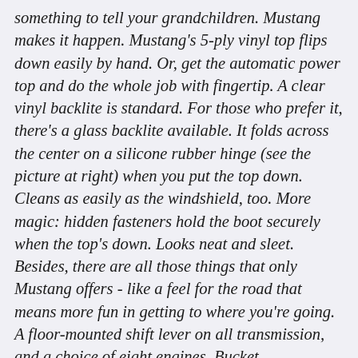something to tell your grandchildren. Mustang makes it happen. Mustang's 5-ply vinyl top flips down easily by hand. Or, get the automatic power top and do the whole job with fingertip. A clear vinyl backlite is standard. For those who prefer it, there's a glass backlite available. It folds across the center on a silicone rubber hinge (see the picture at right) when you put the top down. Cleans as easily as the windshield, too. More magic: hidden fasteners hold the boot securely when the top's down. Looks neat and sleet. Besides, there are all those things that only Mustang offers - like a feel for the road that means more fun in getting to where you're going. A floor-mounted shift lever on all transmission, and a choice of eight engines. Bucket